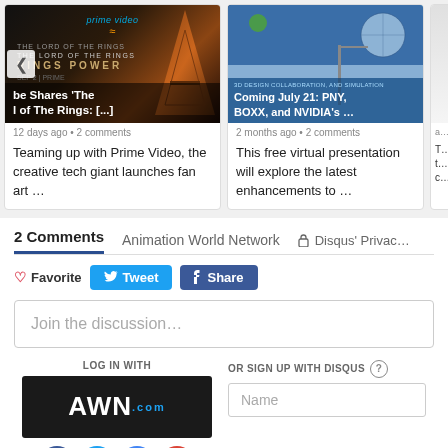[Figure (screenshot): Thumbnail for article about Prime Video and Lord of the Rings fan art, with dark background and Artisan logo. Title overlay: 'be Shares The l of The Rings: [...]']
12 days ago • 2 comments
Teaming up with Prime Video, the creative tech giant launches fan art …
[Figure (screenshot): Thumbnail for article about Coming July 21: PNY, BOXX, and NVIDIA's free virtual presentation on 3D design collaboration and simulation.]
2 months ago • 2 comments
This free virtual presentation will explore the latest enhancements to …
2 Comments
Animation World Network
Disqus' Privac…
♡ Favorite
Tweet
Share
Join the discussion…
LOG IN WITH
[Figure (logo): AWN.com logo on dark background]
OR SIGN UP WITH DISQUS ?
Name